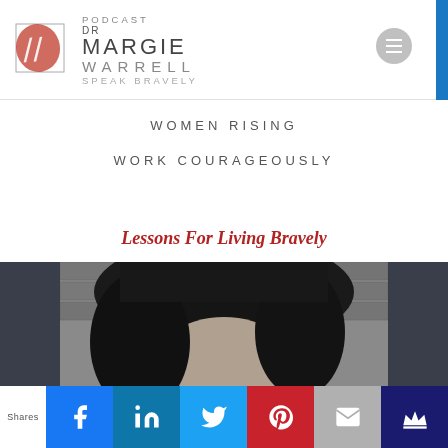DR MARGIE WARRELL · PODCAST SPEAK BRAVELY
WOMEN RISING
WORK COURAGEOUSLY
Lessons For Living Bravely
[Figure (photo): Black and white photo of a woman with dark hair against a brick wall background]
Shares | Facebook | LinkedIn | Twitter | Pinterest | Email | Crown